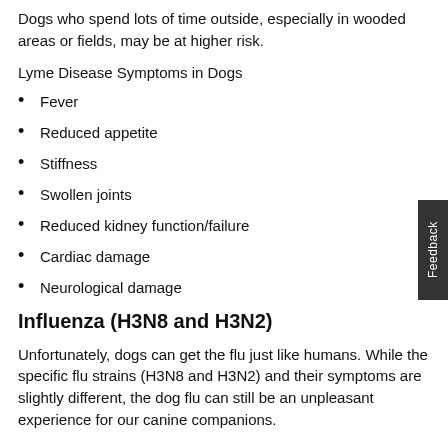Dogs who spend lots of time outside, especially in wooded areas or fields, may be at higher risk.
Lyme Disease Symptoms in Dogs
Fever
Reduced appetite
Stiffness
Swollen joints
Reduced kidney function/failure
Cardiac damage
Neurological damage
Influenza (H3N8 and H3N2)
Unfortunately, dogs can get the flu just like humans. While the specific flu strains (H3N8 and H3N2) and their symptoms are slightly different, the dog flu can still be an unpleasant experience for our canine companions.